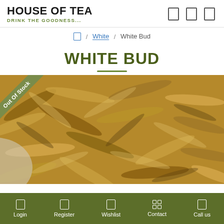HOUSE OF TEA — DRINK THE GOODNESS...
Home / White / White Bud
WHITE BUD
[Figure (photo): Close-up photo of dried white tea buds/leaves in a woven basket with an 'Out Of Stock' ribbon banner in the top-left corner.]
Login | Register | Wishlist | Contact | Call us